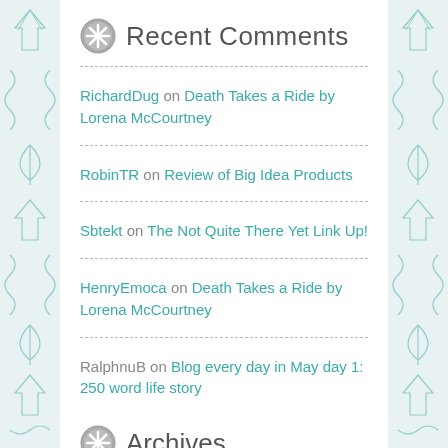Recent Comments
RichardDug on Death Takes a Ride by Lorena McCourtney
RobinTR on Review of Big Idea Products
Sbtekt on The Not Quite There Yet Link Up!
HenryEmoca on Death Takes a Ride by Lorena McCourtney
RalphnuB on Blog every day in May day 1: 250 word life story
Archives
Select Month